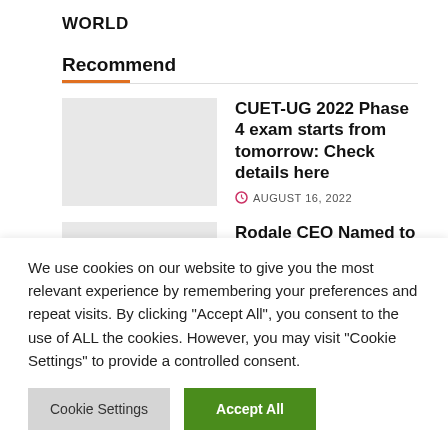WORLD
Recommend
CUET-UG 2022 Phase 4 exam starts from tomorrow: Check details here
AUGUST 16, 2022
Rodale CEO Named to City and State 2022 Pennsylvania Agriculture Power
We use cookies on our website to give you the most relevant experience by remembering your preferences and repeat visits. By clicking “Accept All”, you consent to the use of ALL the cookies. However, you may visit "Cookie Settings" to provide a controlled consent.
Cookie Settings | Accept All